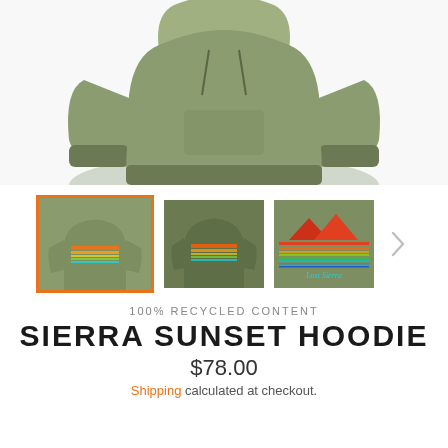[Figure (photo): Main product photo of an olive/army green hoodie sweatshirt shown from the front/top, with the hood laid flat and sleeves visible]
[Figure (photo): Three thumbnail images of the Sierra Sunset Hoodie: first (selected with orange border) shows front view of olive hoodie with sunset graphic, second shows slightly darker hoodie front view, third shows close-up of the sunset graphic design with mountains and colorful horizontal lines. A right arrow navigation button is visible.]
100% RECYCLED CONTENT
SIERRA SUNSET HOODIE
$78.00
Shipping calculated at checkout.